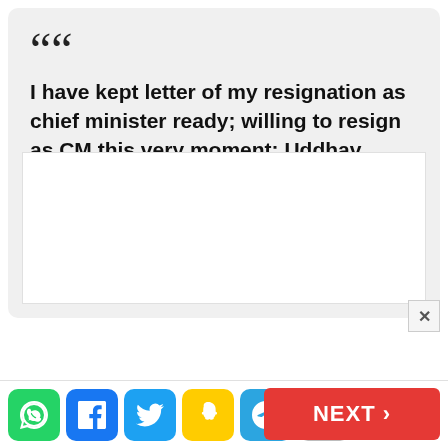““ I have kept letter of my resignation as chief minister ready; willing to resign as CM this very moment: Uddhav Thackeray
[Figure (other): Embedded media/video placeholder box (white rectangle)]
[Figure (infographic): Social share buttons bar: WhatsApp (green), Facebook (blue), Twitter (light blue), Snapchat (yellow), Telegram (blue), Share (grey), and NEXT button (red)]